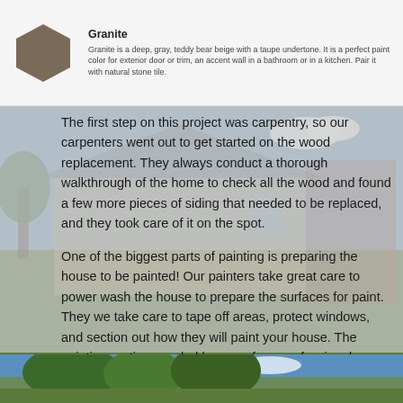[Figure (illustration): Color swatch card showing a hexagonal granite color chip (deep gray-brown/taupe) alongside the color name 'Granite' and a description of the paint color.]
The first step on this project was carpentry, so our carpenters went out to get started on the wood replacement. They always conduct a thorough walkthrough of the home to check all the wood and found a few more pieces of siding that needed to be replaced, and they took care of it on the spot.
One of the biggest parts of painting is preparing the house to be painted! Our painters take great care to power wash the house to prepare the surfaces for paint. They we take care to tape off areas, protect windows, and section out how they will paint your house. The painting portion was led by one of our professional painters, Leobardo, and his team.
[Figure (photo): Partial photo at the bottom of the page showing trees and blue sky, appearing to be an exterior house photo.]